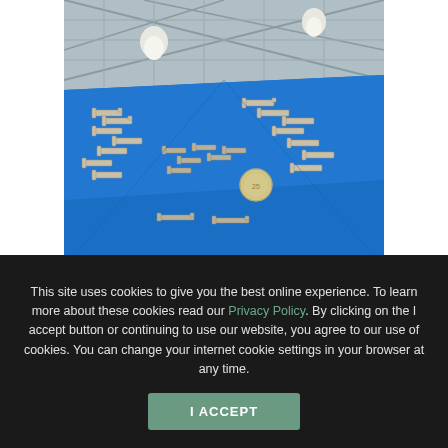[Figure (photo): Photo of metal electrical connector terminals/contacts arranged on a blue surface inside a factory building with steel truss ceiling and industrial lighting. A coin is placed among the connectors for size reference.]
This site uses cookies to give you the best online experience. To learn more about these cookies read our Privacy Policy. By clicking on the I accept button or continuing to use our website, you agree to our use of cookies. You can change your internet cookie settings in your browser at any time.
I ACCEPT